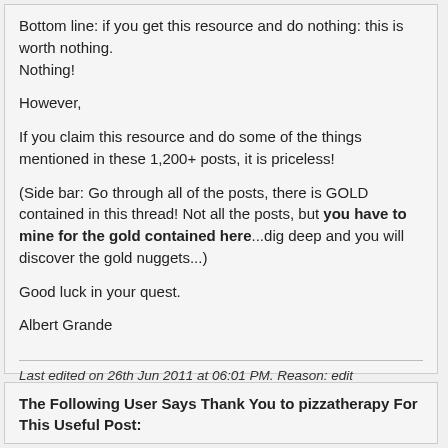Bottom line: if you get this resource and do nothing: this is worth nothing.
Nothing!
However,
If you claim this resource and do some of the things mentioned in these 1,200+ posts, it is priceless!
(Side bar: Go through all of the posts, there is GOLD contained in this thread! Not all the posts, but you have to mine for the gold contained here...dig deep and you will discover the gold nuggets...)
Good luck in your quest.
Albert Grande
Last edited on 26th Jun 2011 at 06:01 PM. Reason: edit
The Following User Says Thank You to pizzatherapy For This Useful Post: